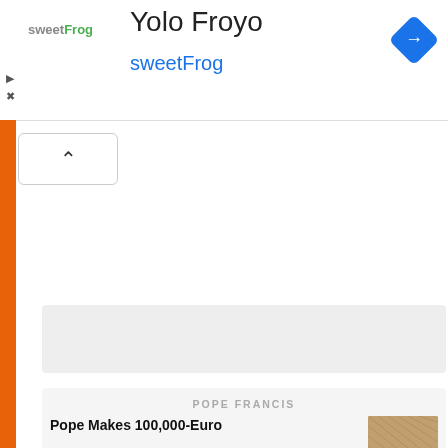[Figure (screenshot): Mobile app advertisement banner for sweetFrog Yolo Froyo with logo, title, subtitle, and navigation arrow icon]
Yolo Froyo
sweetFrog
[Figure (screenshot): Grey placeholder content box]
[Figure (screenshot): Article card with POPE FRANCIS label and headline: Pope Makes 100,000-Euro with thumbnail image]
POPE FRANCIS
Pope Makes 100,000-Euro